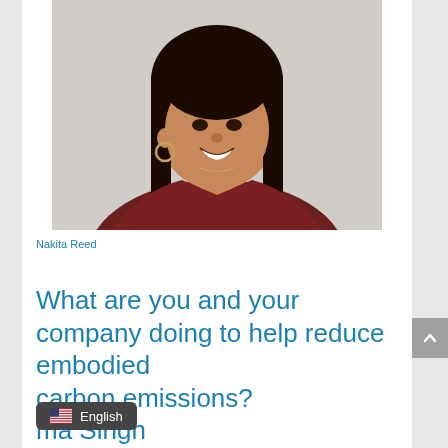[Figure (photo): Headshot photo of Nakita Reed, a woman with long dark hair, smiling, wearing a dark red top and hoop earrings]
Nakita Reed
What are you and your company doing to help reduce embodied carbon emissions?
ma Singh